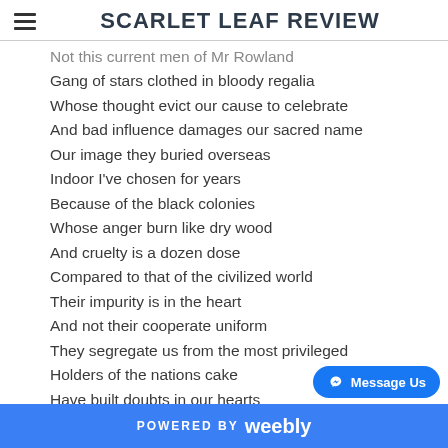SCARLET LEAF REVIEW
Not this current men of Mr Rowland
Gang of stars clothed in bloody regalia
Whose thought evict our cause to celebrate
And bad influence damages our sacred name
Our image they buried overseas
Indoor I've chosen for years
Because of the black colonies
Whose anger burn like dry wood
And cruelty is a dozen dose
Compared to that of the civilized world
Their impurity is in the heart
And not their cooperate uniform
They segregate us from the most privileged
Holders of the nations cake
Have built doubts in our hearts
With their bias handling of mere promises
Our leaders inability to serve
makes me more confused
POWERED BY weebly